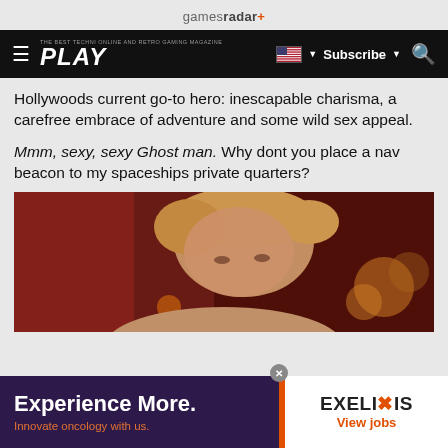gamesradar+
PLAY — Subscribe
Hollywoods current go-to hero: inescapable charisma, a carefree embrace of adventure and some wild sex appeal.
Mmm, sexy, sexy Ghost man. Why dont you place a nav beacon to my spaceships private quarters?
[Figure (photo): Close-up photo of a person with blonde hair against a dark red background with warm bokeh lighting]
Experience More. Innovate oncology with us.
[Figure (logo): EXELIXIS logo with orange X mark. View jobs link below.]